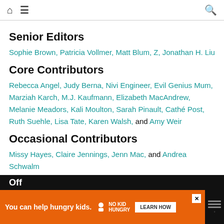Home | Menu | Search
Senior Editors
Sophie Brown, Patricia Vollmer, Matt Blum, Z, Jonathan H. Liu
Core Contributors
Rebecca Angel, Judy Berna, Nivi Engineer, Evil Genius Mum, Marziah Karch, M.J. Kaufmann, Elizabeth MacAndrew, Melanie Meadors, Kali Moulton, Sarah Pinault, Cathé Post, Ruth Suehle, Lisa Tate, Karen Walsh, and Amy Weir
Occasional Contributors
Missy Hayes, Claire Jennings, Jenn Mac, and Andrea Schwalm
[Figure (infographic): Advertisement banner: orange background with 'You can help hungry kids.' text, No Kid Hungry logo, and Learn How button]